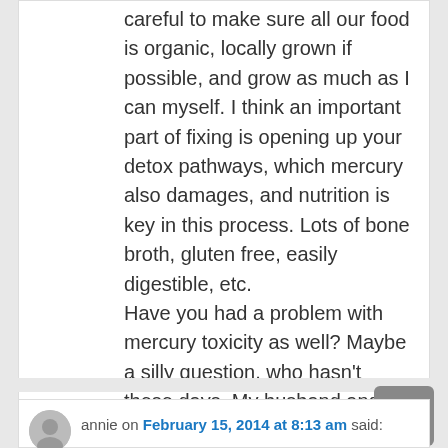careful to make sure all our food is organic, locally grown if possible, and grow as much as I can myself. I think an important part of fixing is opening up your detox pathways, which mercury also damages, and nutrition is key in this process. Lots of bone broth, gluten free, easily digestible, etc. Have you had a problem with mercury toxicity as well? Maybe a silly question, who hasn't these days. My husband and I joke that our kids are going to be super human with everything I have learned and instilled in them through this journey 😉
Reply ↓
annie on February 15, 2014 at 8:13 am said: